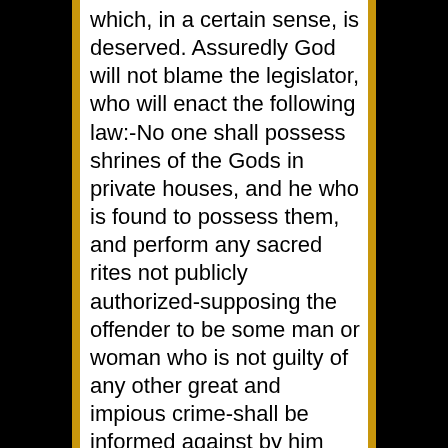which, in a certain sense, is deserved. Assuredly God will not blame the legislator, who will enact the following law:-No one shall possess shrines of the Gods in private houses, and he who is found to possess them, and perform any sacred rites not publicly authorized-supposing the offender to be some man or woman who is not guilty of any other great and impious crime-shall be informed against by him who is acquainted with the fact, which shall be announced by him to the guardians of the law; and let them issue orders that he or she shall carry away their private rites to the public temples, and if